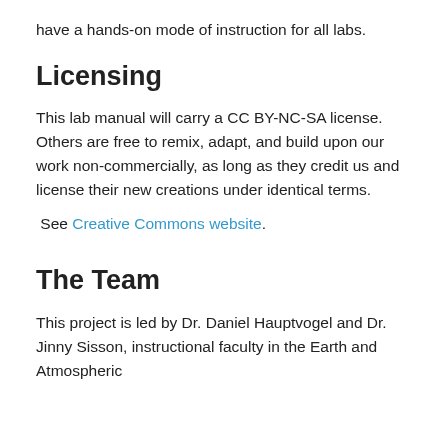have a hands-on mode of instruction for all labs.
Licensing
This lab manual will carry a CC BY-NC-SA license. Others are free to remix, adapt, and build upon our work non-commercially, as long as they credit us and license their new creations under identical terms.
See Creative Commons website.
The Team
This project is led by Dr. Daniel Hauptvogel and Dr. Jinny Sisson, instructional faculty in the Earth and Atmospheric